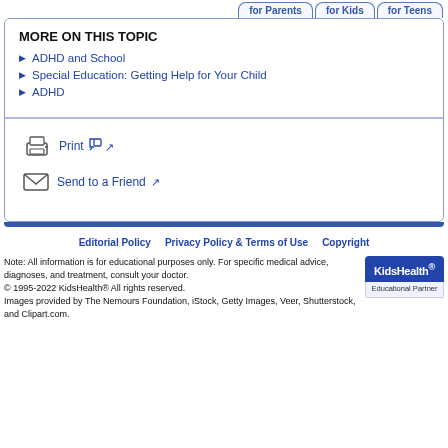for Parents  for Kids  for Teens
MORE ON THIS TOPIC
ADHD and School
Special Education: Getting Help for Your Child
ADHD
Print
Send to a Friend
Editorial Policy  Privacy Policy & Terms of Use  Copyright
Note: All information is for educational purposes only. For specific medical advice, diagnoses, and treatment, consult your doctor.
© 1995-2022 KidsHealth® All rights reserved.
Images provided by The Nemours Foundation, iStock, Getty Images, Veer, Shutterstock, and Clipart.com.